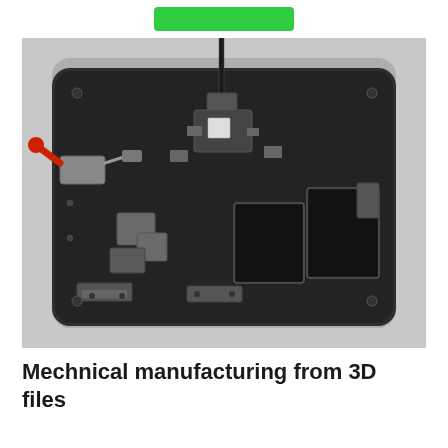[Figure (photo): A black metal mechanical fixture/jig assembly photographed from above on a grey surface. The device has a flat black base plate with rounded corners, multiple metal components including clamps, brackets, rectangular trays/bins on the right side, and a red-handled toggle clamp on the left side. A vertical rod or post extends upward from the center-top area.]
Mechnical manufacturing from 3D files